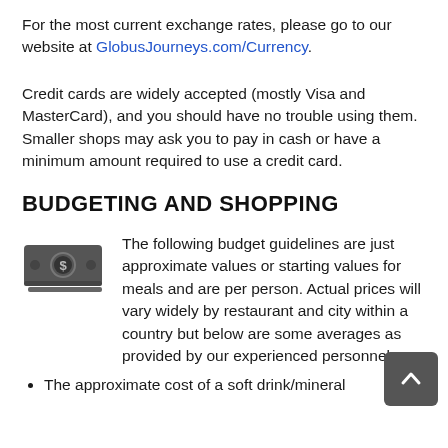For the most current exchange rates, please go to our website at GlobusJourneys.com/Currency.
Credit cards are widely accepted (mostly Visa and MasterCard), and you should have no trouble using them. Smaller shops may ask you to pay in cash or have a minimum amount required to use a credit card.
BUDGETING AND SHOPPING
[Figure (illustration): Money/cash icon showing a stylized bill with a dollar sign in a circle, depicted in dark gray]
The following budget guidelines are just approximate values or starting values for meals and are per person. Actual prices will vary widely by restaurant and city within a country but below are some averages as provided by our experienced personnel.
The approximate cost of a soft drink/mineral